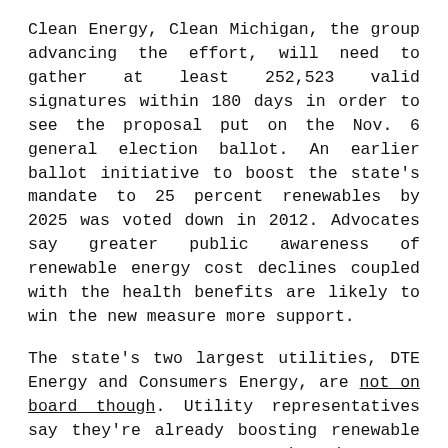Clean Energy, Clean Michigan, the group advancing the effort, will need to gather at least 252,523 valid signatures within 180 days in order to see the proposal put on the Nov. 6 general election ballot. An earlier ballot initiative to boost the state's mandate to 25 percent renewables by 2025 was voted down in 2012. Advocates say greater public awareness of renewable energy cost declines coupled with the health benefits are likely to win the new measure more support.
The state's two largest utilities, DTE Energy and Consumers Energy, are not on board though. Utility representatives say they're already boosting renewable energy procurement and that an inflexible mandate could lead to higher costs for electricity customers.
DTE Energy Chairman and CEO Gerry Anderson told the Detroit Free Press he sees the ballot measure coming